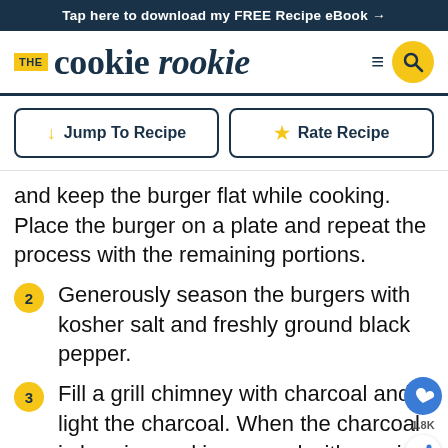Tap here to download my FREE Recipe eBook →
THE cookie rookie
and keep the burger flat while cooking. Place the burger on a plate and repeat the process with the remaining portions.
2  Generously season the burgers with kosher salt and freshly ground black pepper.
3  Fill a grill chimney with charcoal and light the charcoal. When the charcoal is burning and is covered with grayish-white ash, spread the coals evenly over one half of the coal grate. Replace the cooking grate, cover the grill and preheat the grill